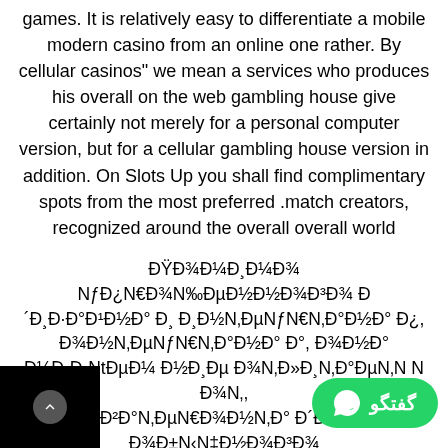games. It is relatively easy to differentiate a mobile modern casino from an online one rather. By cellular casinos" we mean a services who produces his overall on the web gambling house give certainly not merely for a personal computer version, but for a cellular gambling house version in addition. On Slots Up you shall find complimentary spots from the most preferred match creators, recognized around the overall overall world.
ĐŸĐ¾Đ¼Đ¸Đ¼Đ¾ NƒĐ¿N€Đ¾N‰ĐµĐ½Đ½Đ¾Đ³Đ¾ Đ´Đ¸Đ·Đ°Đ¹Đ½Đ° Đ¸ Đ¸Đ½N‚ĐµNƒĐ¹N N  Đ½Đ°Đ¸Đ²Đ½Đ¾ĐµĐ½Đ¸ĐžN‚Đ°Đ¼Đ½Đ°Đ½Đ¿Đ¾NŒNŽN‚ĐµNƒĐ°. An important good deal of competitors find it incredibly very difficult to source their personal facts into modern casino web-sites thereby registering with nicknames. – Noble Panda: The functions of both Noble Panda and LeoVegas can be very similar, with both offering a sportsbook that includes cricket along with Patti Bahar live games. Vanity Gambling house presents you the prospect to carry out extra than 2000 game titles and his
[Figure (other): Black box in bottom-left corner with a circular arrow (chevron-up) button, and a green WhatsApp pill button with گفتگو text and WhatsApp logo on the right]